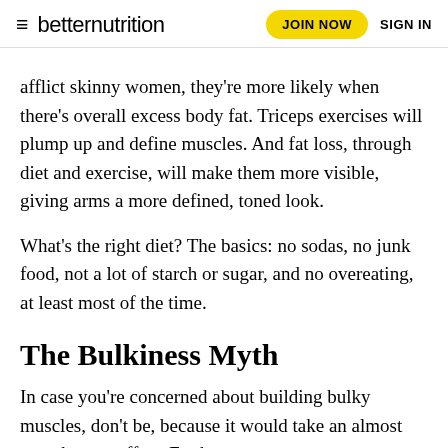≡ betternutrition  JOIN NOW  SIGN IN
afflict skinny women, they're more likely when there's overall excess body fat. Triceps exercises will plump up and define muscles. And fat loss, through diet and exercise, will make them more visible, giving arms a more defined, toned look.
What's the right diet? The basics: no sodas, no junk food, not a lot of starch or sugar, and no overeating, at least most of the time.
The Bulkiness Myth
In case you're concerned about building bulky muscles, don't be, because it would take an almost superhuman effort. For her boxer role in Million Dollar Baby, Hillary Swank did one-and-a-half hours of weight lifting and two-and-a-half hours of